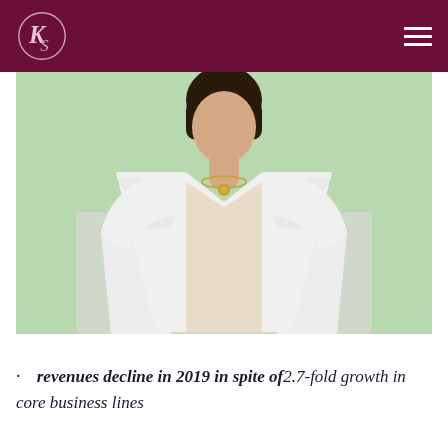[Figure (photo): Woman in white blazer and light-colored top wearing a gold necklace, photographed from shoulders up against a mint/light green background]
revenues decline in 2019 in spite of 2.7-fold growth in core business lines